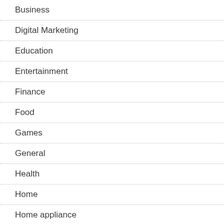Business
Digital Marketing
Education
Entertainment
Finance
Food
Games
General
Health
Home
Home appliance